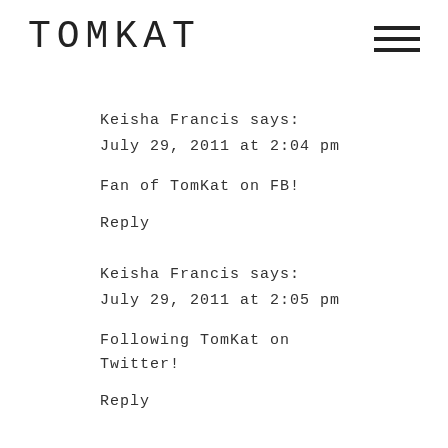TOMKAT
Keisha Francis says:
July 29, 2011 at 2:04 pm
Fan of TomKat on FB!
Reply
Keisha Francis says:
July 29, 2011 at 2:05 pm
Following TomKat on Twitter!
Reply